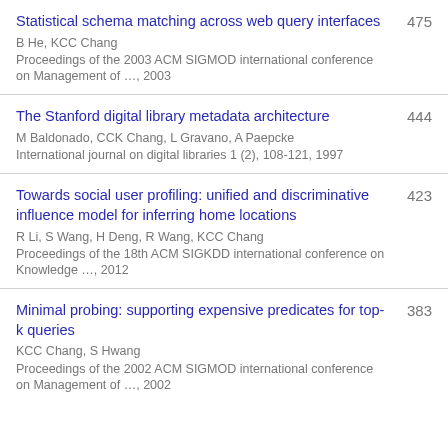Statistical schema matching across web query interfaces | B He, KCC Chang | Proceedings of the 2003 ACM SIGMOD international conference on Management of …, 2003 | 475
The Stanford digital library metadata architecture | M Baldonado, CCK Chang, L Gravano, A Paepcke | International journal on digital libraries 1 (2), 108-121, 1997 | 444
Towards social user profiling: unified and discriminative influence model for inferring home locations | R Li, S Wang, H Deng, R Wang, KCC Chang | Proceedings of the 18th ACM SIGKDD international conference on Knowledge …, 2012 | 423
Minimal probing: supporting expensive predicates for top-k queries | KCC Chang, S Hwang | Proceedings of the 2002 ACM SIGMOD international conference on Management of …, 2002 | 383